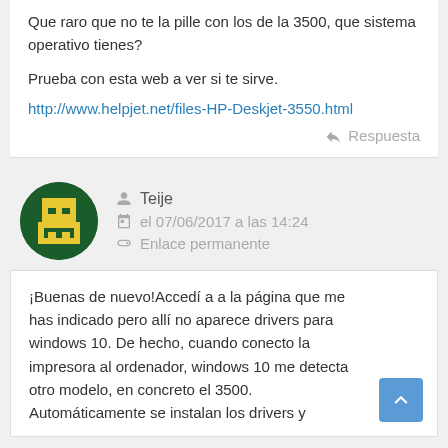Que raro que no te la pille con los de la 3500, que sistema operativo tienes?

Prueba con esta web a ver si te sirve.

http://www.helpjet.net/files-HP-Deskjet-3550.html
Respuesta
Teije
el 07/06/2017 a las 14:24
Enlace permanente
¡Buenas de nuevo!Accedí a a la página que me has indicado pero allí no aparece drivers para windows 10. De hecho, cuando conecto la impresora al ordenador, windows 10 me detecta otro modelo, en concreto el 3500. Automáticamente se instalan los drivers y